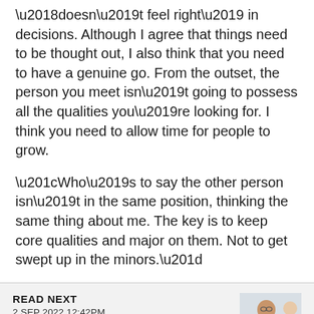'doesn't feel right' in decisions. Although I agree that things need to be thought out, I also think that you need to have a genuine go. From the outset, the person you meet isn't going to possess all the qualities you're looking for. I think you need to allow time for people to grow.
“Who’s to say the other person isn’t in the same position, thinking the same thing about me. The key is to keep core qualities and major on them. Not to get swept up in the minors.”
READ NEXT
2 SEP 2022 12:42PM
MAKING EVANGELISM REALISTIC, DIPLOMATIC, PERSONAL, HOPEFUL AND EVEN ... ENJOYABLE
[Figure (photo): A person sitting and thinking, wearing a blue shirt, with another person partially visible in the background]